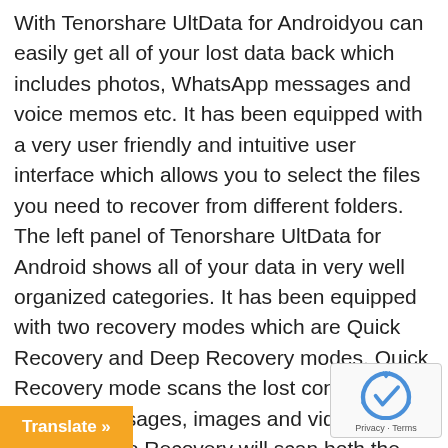With Tenorshare UltData for Androidyou can easily get all of your lost data back which includes photos, WhatsApp messages and voice memos etc. It has been equipped with a very user friendly and intuitive user interface which allows you to select the files you need to recover from different folders. The left panel of Tenorshare UltData for Android shows all of your data in very well organized categories. It has been equipped with two recovery modes which are Quick Recovery and Deep Recovery modes. Quick Recovery mode scans the lost contacts, call history, messages, images and videos quickly. Deep Recovery will scan both the lost and existing contacts, call history, messages, images and videos deeply. This recovery application supports all the Android devices and various different kinds of tablets. All in all Tenorshare UltData for Android is an imposing and effective application that is very useful for the users who are looking for recovering files from their smartphones. You can also download P very.
[Figure (other): Orange 'Translate »' button overlay at bottom-left and reCAPTCHA badge at bottom-right]